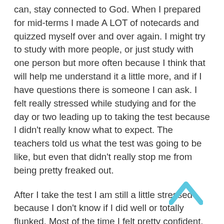can, stay connected to God. When I prepared for mid-terms I made A LOT of notecards and quizzed myself over and over again. I might try to study with more people, or just study with one person but more often because I think that will help me understand it a little more, and if I have questions there is someone I can ask. I felt really stressed while studying and for the day or two leading up to taking the test because I didn't really know what to expect. The teachers told us what the test was going to be like, but even that didn't really stop me from being pretty freaked out.
After I take the test I am still a little stressed because I don't know if I did well or totally flunked. Most of the time I felt pretty confident, but you never know. For the most part after the test, I was just relieved it was over. I did and didn't lose sight of God. While there were definitely times where I did, I think there were also times where it was the opposite. That week we